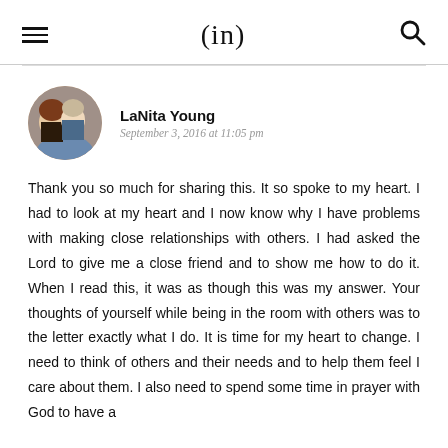(in)
[Figure (photo): Circular avatar photo of LaNita Young showing two women, one with red/brown hair and one younger with lighter hair]
LaNita Young
September 3, 2016 at 11:05 pm
Thank you so much for sharing this. It so spoke to my heart. I had to look at my heart and I now know why I have problems with making close relationships with others. I had asked the Lord to give me a close friend and to show me how to do it. When I read this, it was as though this was my answer. Your thoughts of yourself while being in the room with others was to the letter exactly what I do. It is time for my heart to change. I need to think of others and their needs and to help them feel I care about them. I also need to spend some time in prayer with God to have a